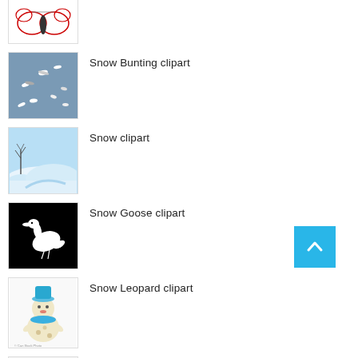[Figure (illustration): Thumbnail showing decorative butterfly or insect clipart, partially cropped at top]
[Figure (photo): Snow Bunting birds flying against a grey sky]
Snow Bunting clipart
[Figure (illustration): Snow clipart showing a winter scene with bare tree and snowy hills in blue tones]
Snow clipart
[Figure (illustration): Snow Goose clipart on black background showing a white goose silhouette]
Snow Goose clipart
[Figure (illustration): Snow Leopard clipart showing cartoon leopard with blue hat and scarf, ice skating]
Snow Leopard clipart
[Figure (illustration): Snow Monkey clipart showing cartoon monkey face, partially visible at bottom]
Snow Monkey clipart